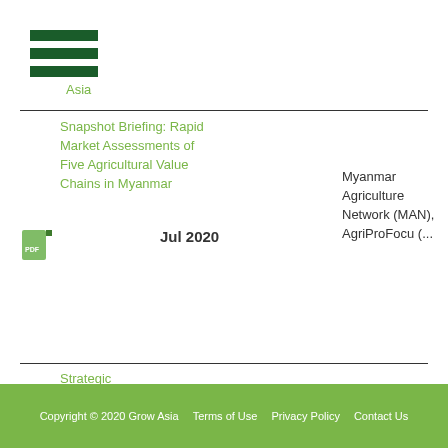[Figure (illustration): Hamburger menu icon with three dark green horizontal bars]
Asia
Snapshot Briefing: Rapid Market Assessments of Five Agricultural Value Chains in Myanmar
Jul 2020
Myanmar Agriculture Network (MAN), AgriProFocus (...
Strategic Plan of
Copyright © 2020 Grow Asia    Terms of Use    Privacy Policy    Contact Us